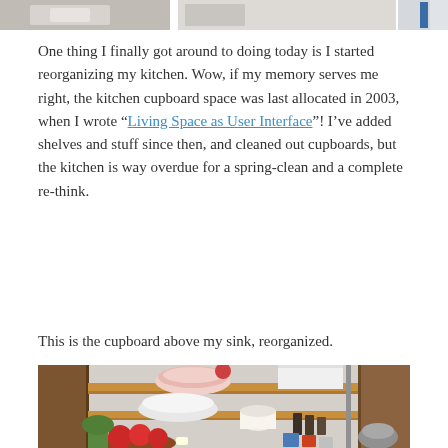[Figure (photo): Top portion of a photo showing kitchen items, partially cropped at the top of the page.]
One thing I finally got around to doing today is I started reorganizing my kitchen. Wow, if my memory serves me right, the kitchen cupboard space was last allocated in 2003, when I wrote “Living Space as User Interface”! I’ve added shelves and stuff since then, and cleaned out cupboards, but the kitchen is way overdue for a spring-clean and a complete re-think.
This is the cupboard above my sink, reorganized.
[Figure (photo): Photo of a kitchen cupboard above a sink, showing three wooden shelves with kitchen items: a colander, white bowl, paper towel roll, spice bottles, fruit in a wooden bowl, and mugs. Wooden cabinet visible on the right.]